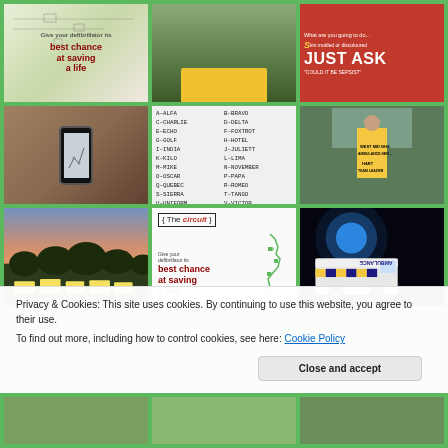[Figure (infographic): Grid of 3x3 images from ambulance service website including 'best chance at saving a life' campaign, ambulance crew photo, 'JUST ASK Could it be sepsis?' poster, phone app screenshot, NATO phonetic alphabet, HART team leader photo, ambulance fleet at sunset, 'The circuit' defibrillator infographic, and ambulance with blue lights at night]
Privacy & Cookies: This site uses cookies. By continuing to use this website, you agree to their use.
To find out more, including how to control cookies, see here: Cookie Policy
Close and accept